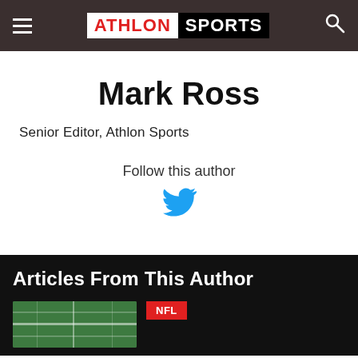ATHLON SPORTS
Mark Ross
Senior Editor, Athlon Sports
Follow this author
[Figure (logo): Twitter bird icon in blue]
Articles From This Author
[Figure (photo): American football field aerial view thumbnail]
NFL